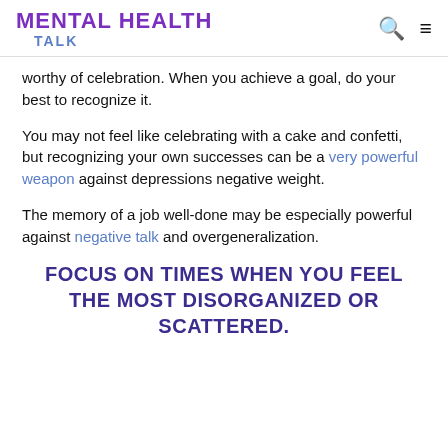MENTAL HEALTH TALK
worthy of celebration. When you achieve a goal, do your best to recognize it.
You may not feel like celebrating with a cake and confetti, but recognizing your own successes can be a very powerful weapon against depressions negative weight.
The memory of a job well-done may be especially powerful against negative talk and overgeneralization.
FOCUS ON TIMES WHEN YOU FEEL THE MOST DISORGANIZED OR SCATTERED.